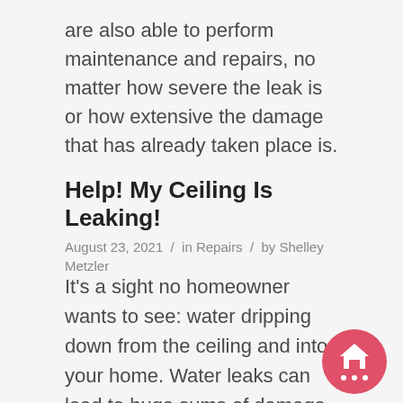are also able to perform maintenance and repairs, no matter how severe the leak is or how extensive the damage that has already taken place is.
Help! My Ceiling Is Leaking!
August 23, 2021 / in Repairs / by Shelley Metzler
It's a sight no homeowner wants to see: water dripping down from the ceiling and into your home. Water leaks can lead to huge sums of damage, both to your belongings and to the structure of your home itself. When your ceiling is leaking, the
[Figure (illustration): Pink/red circular chat bubble icon with a house symbol and three dots, positioned at bottom right]